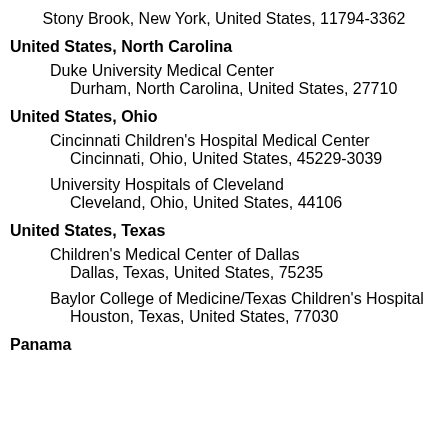Stony Brook, New York, United States, 11794-3362
United States, North Carolina
Duke University Medical Center
Durham, North Carolina, United States, 27710
United States, Ohio
Cincinnati Children's Hospital Medical Center
Cincinnati, Ohio, United States, 45229-3039
University Hospitals of Cleveland
Cleveland, Ohio, United States, 44106
United States, Texas
Children's Medical Center of Dallas
Dallas, Texas, United States, 75235
Baylor College of Medicine/Texas Children's Hospital
Houston, Texas, United States, 77030
Panama